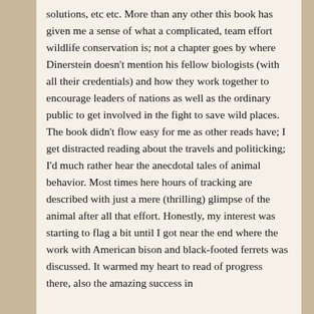solutions, etc etc. More than any other this book has given me a sense of what a complicated, team effort wildlife conservation is; not a chapter goes by where Dinerstein doesn't mention his fellow biologists (with all their credentials) and how they work together to encourage leaders of nations as well as the ordinary public to get involved in the fight to save wild places. The book didn't flow easy for me as other reads have; I get distracted reading about the travels and politicking; I'd much rather hear the anecdotal tales of animal behavior. Most times here hours of tracking are described with just a mere (thrilling) glimpse of the animal after all that effort. Honestly, my interest was starting to flag a bit until I got near the end where the work with American bison and black-footed ferrets was discussed. It warmed my heart to read of progress there, also the amazing success in